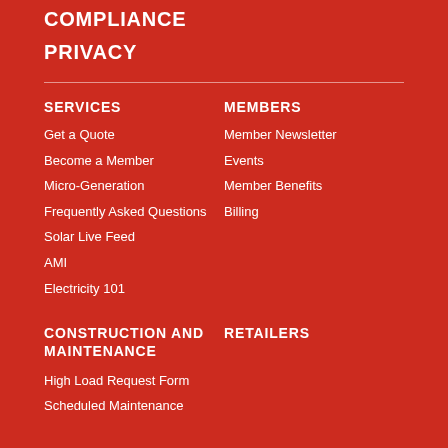COMPLIANCE
PRIVACY
SERVICES
Get a Quote
Become a Member
Micro-Generation
Frequently Asked Questions
Solar Live Feed
AMI
Electricity 101
MEMBERS
Member Newsletter
Events
Member Benefits
Billing
CONSTRUCTION AND MAINTENANCE
High Load Request Form
Scheduled Maintenance
RETAILERS